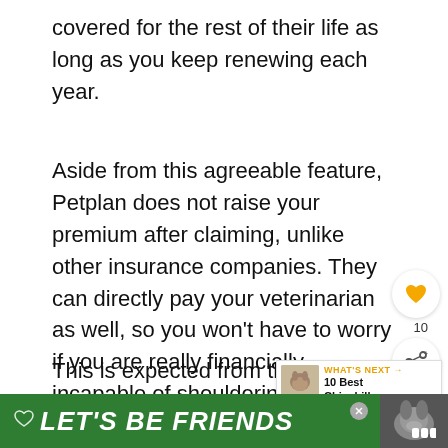covered for the rest of their life as long as you keep renewing each year.
Aside from this agreeable feature, Petplan does not raise your premium after claiming, unlike other insurance companies. They can directly pay your veterinarian as well, so you won't have to worry if you are really financially incapable of shouldering vet fees during that time.
This is expected from them since th award-winning insurance company. They've been providing insurance claims for 40 years no mmion
[Figure (screenshot): Green advertisement banner at bottom: heart icon, LET'S BE FRIENDS text in white bold italic, dog image on right, close button]
[Figure (infographic): What's Next widget showing chinchilla image with label WHAT'S NEXT and text 10 Best Chinchilla...]
[Figure (infographic): Social media floating buttons: heart icon with count 10, share icon]